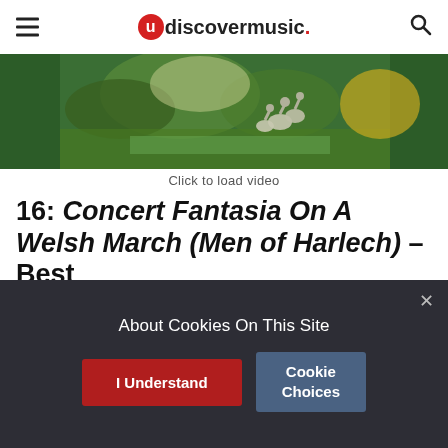uDiscoverMusic
[Figure (photo): Video thumbnail showing geese/birds near water with green foliage background]
Click to load video
16: Concert Fantasia On A Welsh March (Men of Harlech) – Best
W T Best (1826-97) was the doyen of British concert organists. For 40 years he was organist of St George's Hall, Liverpool, playing some 100 recitals a year. His repertoire is said to have comprised over 5000 works. This thrilling arrangement is typical of the fare which had
About Cookies On This Site
I Understand
Cookie Choices